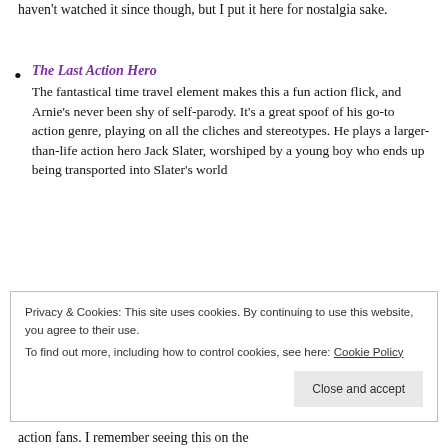haven't watched it since though, but I put it here for nostalgia sake.
The Last Action Hero
The fantastical time travel element makes this a fun action flick, and Arnie's never been shy of self-parody. It's a great spoof of his go-to action genre, playing on all the cliches and stereotypes. He plays a larger-than-life action hero Jack Slater, worshiped by a young boy who ends up being transported into Slater's world
Privacy & Cookies: This site uses cookies. By continuing to use this website, you agree to their use.
To find out more, including how to control cookies, see here: Cookie Policy
action fans. I remember seeing this on the